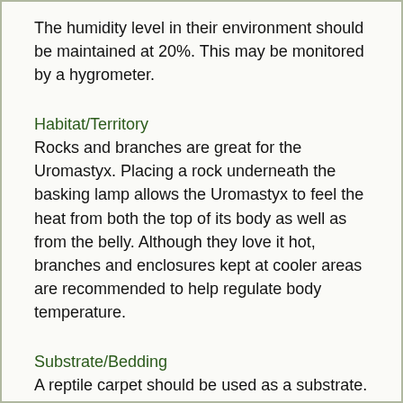The humidity level in their environment should be maintained at 20%. This may be monitored by a hygrometer.
Habitat/Territory
Rocks and branches are great for the Uromastyx. Placing a rock underneath the basking lamp allows the Uromastyx to feel the heat from both the top of its body as well as from the belly. Although they love it hot, branches and enclosures kept at cooler areas are recommended to help regulate body temperature.
Substrate/Bedding
A reptile carpet should be used as a substrate. Also provide a burrowing box filled with calcium sand to promote instinctual burrowing.
Hiding Place/Den
They love to have hiding places in order to feel secure so